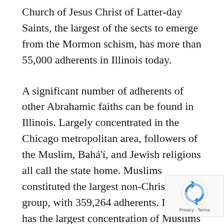Church of Jesus Christ of Latter-day Saints, the largest of the sects to emerge from the Mormon schism, has more than 55,000 adherents in Illinois today.
A significant number of adherents of other Abrahamic faiths can be found in Illinois. Largely concentrated in the Chicago metropolitan area, followers of the Muslim, Bahá'í, and Jewish religions all call the state home. Muslims constituted the largest non-Christian group, with 359,264 adherents. Illinois has the largest concentration of Muslims by state in the country, with 2,800 Muslims per 100,000 citizens.
The largest and oldest surviving Bahá'í House of...
[Figure (other): reCAPTCHA badge with spinning arrows icon and 'Privacy - Terms' text]